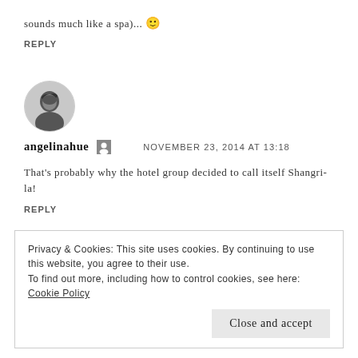sounds much like a spa)... 🙂
REPLY
[Figure (photo): Circular avatar photo of a woman with dark hair in a bun, black and white style]
angelinahue   NOVEMBER 23, 2014 AT 13:18
That's probably why the hotel group decided to call itself Shangri-la!
REPLY
Privacy & Cookies: This site uses cookies. By continuing to use this website, you agree to their use.
To find out more, including how to control cookies, see here: Cookie Policy
Close and accept